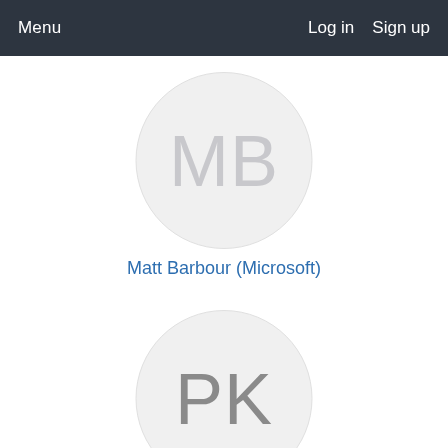Menu   Log in   Sign up
[Figure (illustration): Circular avatar placeholder with initials MB in light gray on light gray circle background]
Matt Barbour (Microsoft)
[Figure (illustration): Circular avatar placeholder with initials PK in medium gray on light gray circle background]